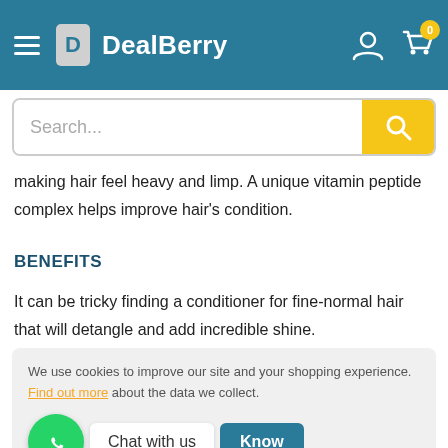DealBerry
making hair feel heavy and limp. A unique vitamin peptide complex helps improve hair's condition.
BENEFITS
It can be tricky finding a conditioner for fine-normal hair that will detangle and add incredible shine.
We use cookies to improve our site and your shopping experience. Find out more about the data we collect.
distribute evenly. Rinse thoroughly with warm water.